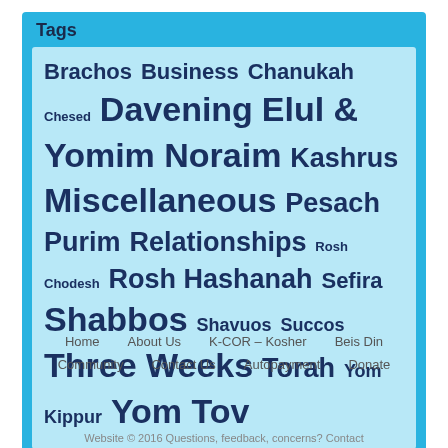Tags
Brachos Business Chanukah Chesed Davening Elul & Yomim Noraim Kashrus Miscellaneous Pesach Purim Relationships Rosh Chodesh Rosh Hashanah Sefira Shabbos Shavuos Succos Three Weeks Torah Yom Kippur Yom Tov
Home  About Us  K-COR – Kosher  Beis Din  Community  Contact Us  Autopayment  Donate
Website © 2016 Questions, feedback, concerns? Contact